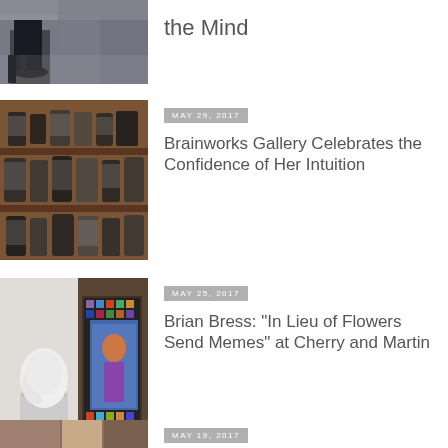[Figure (photo): Partial view of an art gallery installation with a dark sculptural piece on the floor and large paintings on white walls]
the Mind
[Figure (photo): Wooden shelving unit filled with glass jars containing dark organic materials, displayed in a gallery setting]
MAY 29, 2017
Brainworks Gallery Celebrates the Confidence of Her Intuition
[Figure (photo): Gallery installation showing a white sculptural form on a pedestal and a colorful mosaic-framed artwork on the wall]
MAY 25, 2017
Brian Bress: “In Lieu of Flowers Send Memes” at Cherry and Martin
[Figure (photo): Partial bottom thumbnail of another gallery article]
MAY 19, 2017